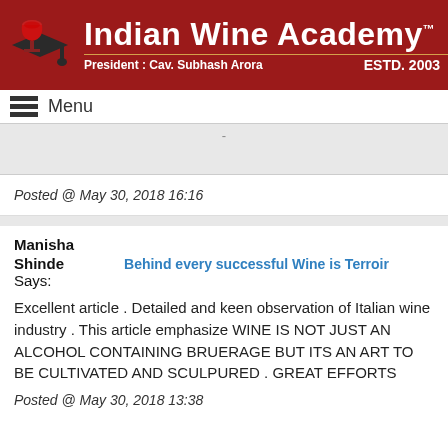[Figure (logo): Indian Wine Academy logo with wine glass on graduation cap, red banner, President: Cav. Subhash Arora, ESTD. 2003]
Menu
Posted @ May 30, 2018 16:16
Manisha Shinde Says: Behind every successful Wine is Terroir
Excellent article . Detailed and keen observation of Italian wine industry . This article emphasize WINE IS NOT JUST AN ALCOHOL CONTAINING BRUERAGE BUT ITS AN ART TO BE CULTIVATED AND SCULPURED . GREAT EFFORTS
Posted @ May 30, 2018 13:38